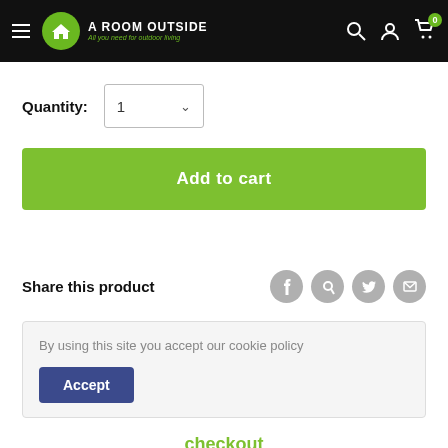A ROOM OUTSIDE - All you need for outdoor living
Quantity: 1
Add to cart
Share this product
By using this site you accept our cookie policy
Accept
checkout